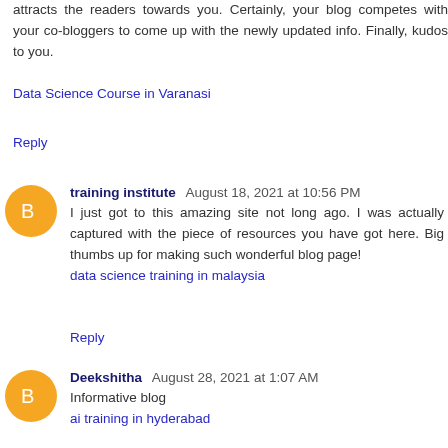attracts the readers towards you. Certainly, your blog competes with your co-bloggers to come up with the newly updated info. Finally, kudos to you.
Data Science Course in Varanasi
Reply
training institute  August 18, 2021 at 10:56 PM
I just got to this amazing site not long ago. I was actually captured with the piece of resources you have got here. Big thumbs up for making such wonderful blog page! data science training in malaysia
Reply
Deekshitha  August 28, 2021 at 1:07 AM
Informative blog ai training in hyderabad